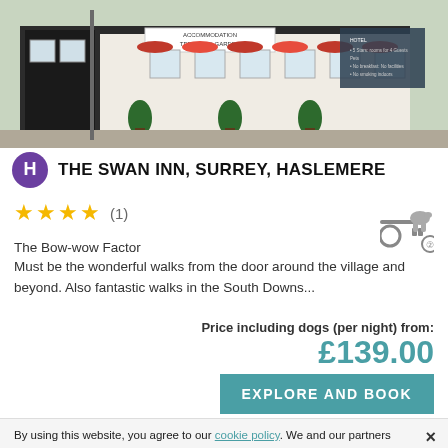[Figure (photo): Exterior photo of The Swan Inn, a white building with flower boxes, topiary and signage reading Accommodation Terraced Garden]
THE SWAN INN, SURREY, HASLEMERE
★★★★ (1)
The Bow-wow Factor
Must be the wonderful walks from the door around the village and beyond. Also fantastic walks in the South Downs...
Price including dogs (per night) from:
£139.00
EXPLORE AND BOOK
By using this website, you agree to our cookie policy. We and our partners use cookies to offer you a better, more personalised website experience.
Accept